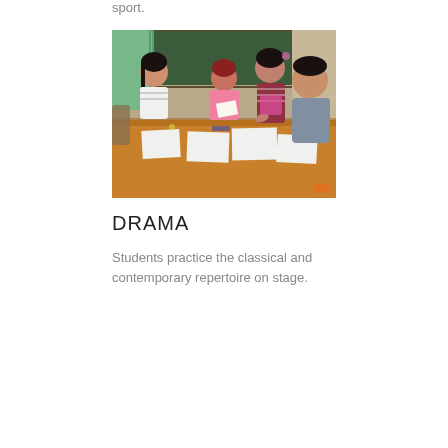sport.
[Figure (photo): Teacher and students sitting around a wooden desk in a classroom, with papers spread on the table. A green chalkboard is visible in the background.]
DRAMA
Students practice the classical and contemporary repertoire on stage.